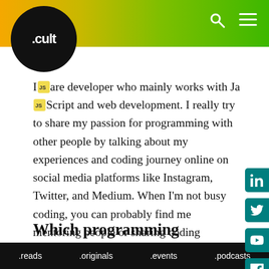.cult
I are developer who mainly works with JavaScript and web development. I really try to share my passion for programming with other people by talking about my experiences and coding journey online on social media platforms like Instagram, Twitter, and Medium. When I'm not busy coding, you can probably find me mentoring people or sharing coding tutorials. I just want to help make the tech world less intimidating and scary for people.
Which programming languages do you
.reads .originals .events .podcasts